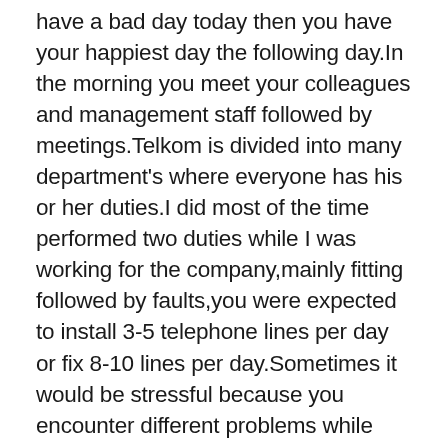have a bad day today then you have your happiest day the following day.In the morning you meet your colleagues and management staff followed by meetings.Telkom is divided into many department's where everyone has his or her duties.I did most of the time performed two duties while I was working for the company,mainly fitting followed by faults,you were expected to install 3-5 telephone lines per day or fix 8-10 lines per day.Sometimes it would be stressful because you encounter different problems while working on the field with some beyond your control,the most part I liked working for Telkom was to meet different kind of people with different characters coming from all walks of life.Customers would be stressed and angry but when you leave they even smile with you.I would recommend Telkom to my friends because it's a company with different carree paths were you can expand and develop yourself, technology its the way of life and Telkom SA is one